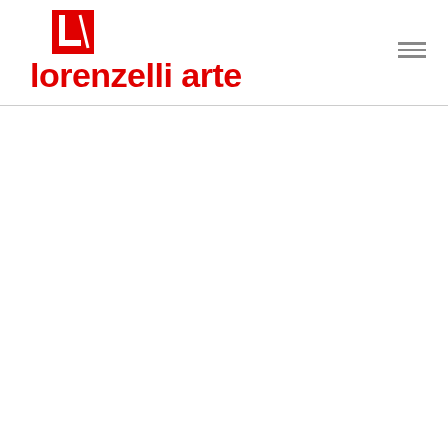[Figure (logo): Lorenzelli Arte logo: red square with white letter L icon above red bold text reading 'lorenzelli arte']
[Figure (other): Hamburger menu icon with three horizontal gray lines in the top right corner]